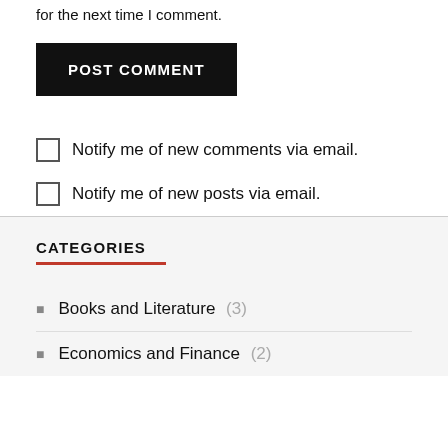for the next time I comment.
POST COMMENT
Notify me of new comments via email.
Notify me of new posts via email.
CATEGORIES
Books and Literature (3)
Economics and Finance (2)